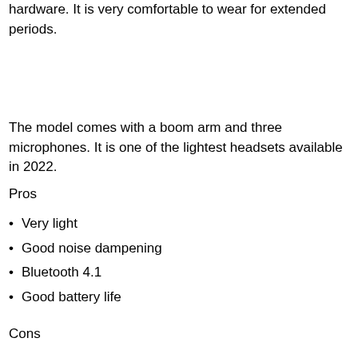hardware. It is very comfortable to wear for extended periods.
The model comes with a boom arm and three microphones. It is one of the lightest headsets available in 2022.
Pros
Very light
Good noise dampening
Bluetooth 4.1
Good battery life
Cons